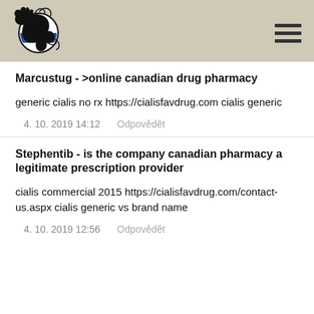[Figure (logo): Dragon logo with Sierra Leone flag emblem inside a circle, black dragon wrapping around a circular crest]
Marcustug - >online canadian drug pharmacy
generic cialis no rx https://cialisfavdrug.com cialis generic
4. 10. 2019 14:12   Odpovědět
Stephentib - is the company canadian pharmacy a legitimate prescription provider
cialis commercial 2015 https://cialisfavdrug.com/contact-us.aspx cialis generic vs brand name
4. 10. 2019 12:56   Odpovědět